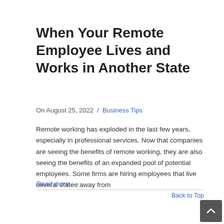When Your Remote Employee Lives and Works in Another State
On August 25, 2022  /  Business Tips
Remote working has exploded in the last few years, especially in professional services. Now that companies are seeing the benefits of remote working, they are also seeing the benefits of an expanded pool of potential employees. Some firms are hiring employees that live several states away from
Read more →
Back to Top